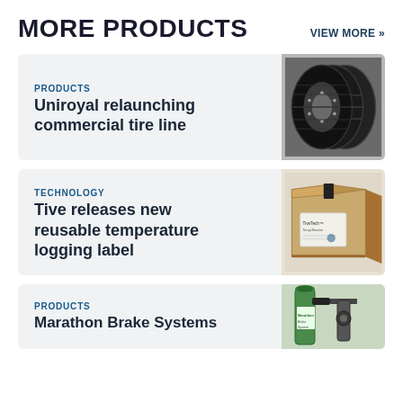MORE PRODUCTS
VIEW MORE »
PRODUCTS
Uniroyal relaunching commercial tire line
[Figure (photo): Three commercial truck tires standing side by side]
TECHNOLOGY
Tive releases new reusable temperature logging label
[Figure (photo): A brown cardboard shipping box with a label on it]
PRODUCTS
Marathon Brake Systems